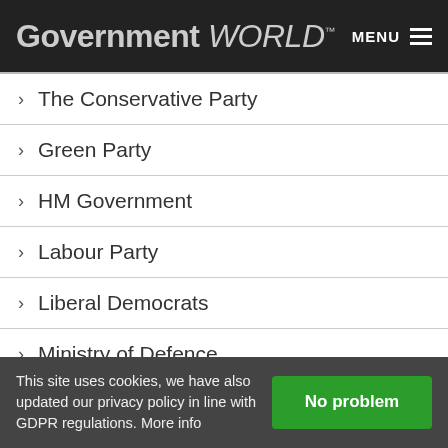Government WORLD™  MENU
> The Conservative Party
> Green Party
> HM Government
> Labour Party
> Liberal Democrats
> Ministry of Defence
> Northern Ireland Executive
> OECD.org – United Kingdom
> Scottish Conservatives
This site uses cookies, we have also updated our privacy policy in line with GDPR regulations. More info